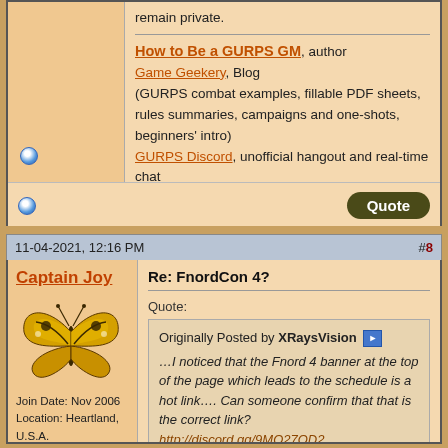remain private.
How to Be a GURPS GM, author
Game Geekery, Blog (GURPS combat examples, fillable PDF sheets, rules summaries, campaigns and one-shots, beginners' intro)
GURPS Discord, unofficial hangout and real-time chat
11-04-2021, 12:16 PM  #8
Captain Joy
[Figure (illustration): Yellow and black swallowtail butterfly illustration]
Join Date: Nov 2006
Location: Heartland, U.S.A.
Re: FnordCon 4?
Quote:
Originally Posted by XRaysVision
…I noticed that the Fnord 4 banner at the top of the page which leads to the schedule is a hot link…. Can someone confirm that that is the correct link?
http://discord.gg/9MQ27QD2